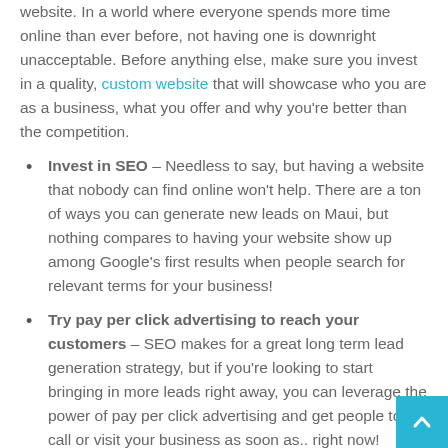website. In a world where everyone spends more time online than ever before, not having one is downright unacceptable. Before anything else, make sure you invest in a quality, custom website that will showcase who you are as a business, what you offer and why you're better than the competition.
Invest in SEO – Needless to say, but having a website that nobody can find online won't help. There are a ton of ways you can generate new leads on Maui, but nothing compares to having your website show up among Google's first results when people search for relevant terms for your business!
Try pay per click advertising to reach your customers – SEO makes for a great long term lead generation strategy, but if you're looking to start bringing in more leads right away, you can leverage the power of pay per click advertising and get people to call or visit your business as soon as.. right now!